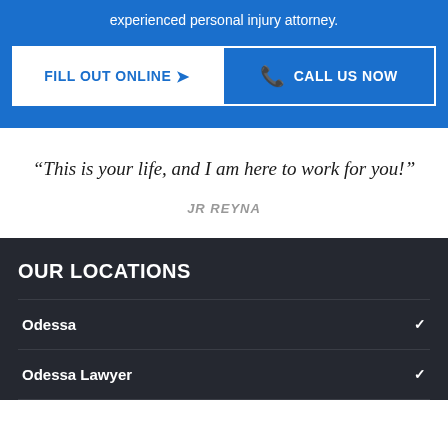experienced personal injury attorney.
FILL OUT ONLINE >
CALL US NOW
“This is your life, and I am here to work for you!”
JR REYNA
OUR LOCATIONS
Odessa
Odessa Lawyer